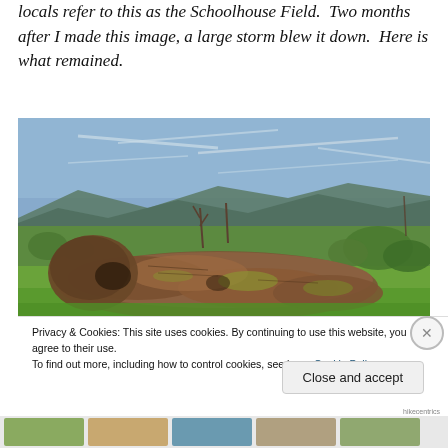locals refer to this as the Schoolhouse Field.  Two months after I made this image, a large storm blew it down.  Here is what remained.
[Figure (photo): Outdoor landscape photo showing fallen tree remains (large broken logs and root ball) on green grass, with rolling hills and blue sky with wispy clouds in the background. HDR-style processing visible.]
Privacy & Cookies: This site uses cookies. By continuing to use this website, you agree to their use.
To find out more, including how to control cookies, see here: Cookie Policy